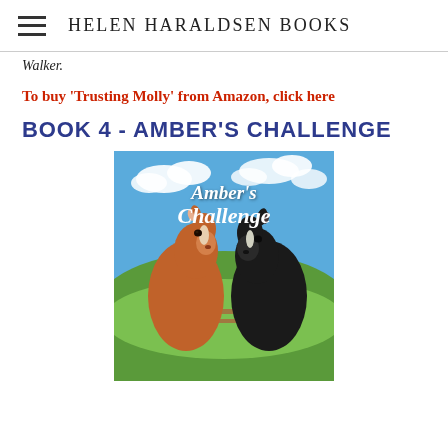HELEN HARALDSEN BOOKS
Walker.
To buy 'Trusting Molly' from Amazon, click here
BOOK 4 - AMBER'S CHALLENGE
[Figure (illustration): Book cover for Amber's Challenge showing two horses - a chestnut/brown horse on the left and a dark black horse on the right, facing each other over a wooden fence with green countryside fields and blue sky with clouds in background. The title 'Amber's Challenge' is written in white script font at the top.]